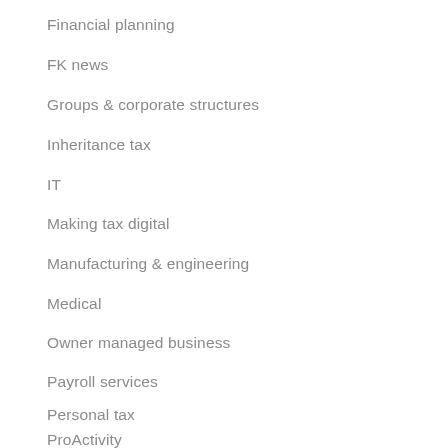Financial planning
FK news
Groups & corporate structures
Inheritance tax
IT
Making tax digital
Manufacturing & engineering
Medical
Owner managed business
Payroll services
Personal tax
ProActivity